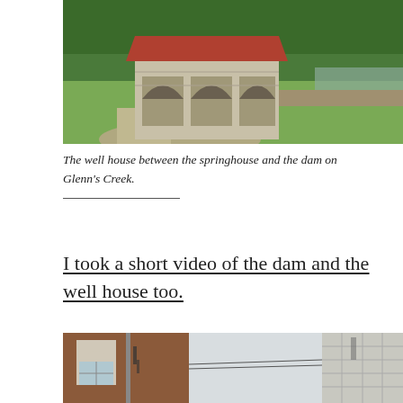[Figure (photo): A stone well house or pavilion with arched openings and a terracotta tile roof, surrounded by green grass and trees, near a creek with a stone dam.]
The well house between the springhouse and the dam on Glenn's Creek.
I took a short video of the dam and the well house too.
[Figure (photo): Three cropped photos side by side: a brick building with an arched window, an open sky with utility lines, and the side of a white stone or concrete block cylindrical structure (silo).]